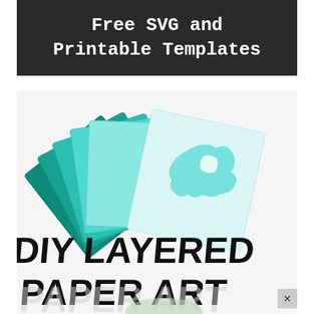Free SVG and Printable Templates
[Figure (photo): Layered paper art pieces fanned out showing teal/blue graduated sheets with a dragon or creature cutout design, with bold handwritten-style text overlay reading 'DIY Layered Paper Art']